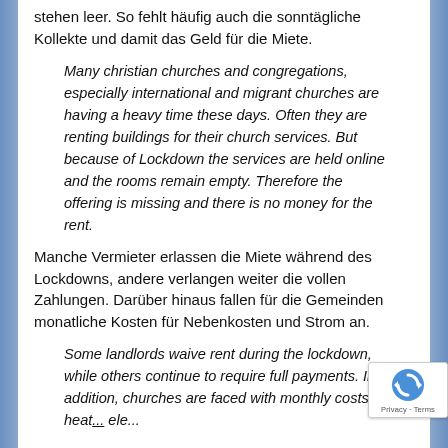stehen leer. So fehlt häufig auch die sonntägliche Kollekte und damit das Geld für die Miete.
Many christian churches and congregations, especially international and migrant churches are having a heavy time these days. Often they are renting buildings for their church services. But because of Lockdown the services are held online and the rooms remain empty. Therefore the offering is missing and there is no money for the rent.
Manche Vermieter erlassen die Miete während des Lockdowns, andere verlangen weiter die vollen Zahlungen. Darüber hinaus fallen für die Gemeinden monatliche Kosten für Nebenkosten und Strom an.
Some landlords waive rent during the lockdown, while others continue to require full payments. In addition, churches are faced with monthly costs for heat... ele...